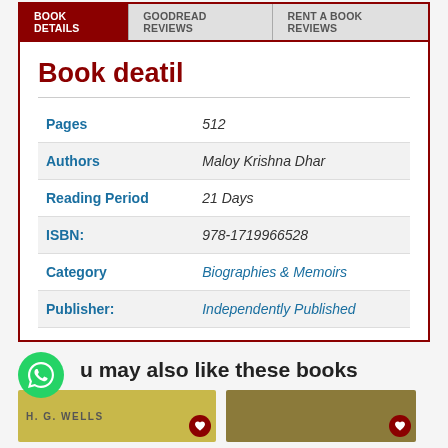Book Details | Goodread Reviews | Rent a Book Reviews
Book deatil
| Field | Value |
| --- | --- |
| Pages | 512 |
| Authors | Maloy Krishna Dhar |
| Reading Period | 21 Days |
| ISBN: | 978-1719966528 |
| Category | Biographies & Memoirs |
| Publisher: | Independently Published |
You may also like these books
[Figure (photo): Book cover thumbnail for H. G. Wells book with yellow background]
[Figure (photo): Book cover thumbnail with brown/nature pattern background]